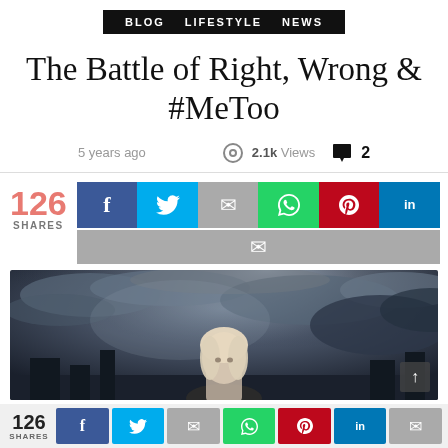BLOG  LIFESTYLE  NEWS
The Battle of Right, Wrong & #MeToo
5 years ago   2.1k Views   2
126 SHARES
[Figure (screenshot): Social share buttons: Facebook, Twitter, Email, WhatsApp, Pinterest, LinkedIn, Email]
[Figure (photo): Hero image of a blonde woman against dark stormy cloudy sky background]
126 SHARES — bottom share bar with Facebook, Twitter, Email, WhatsApp, Pinterest, LinkedIn, Email buttons